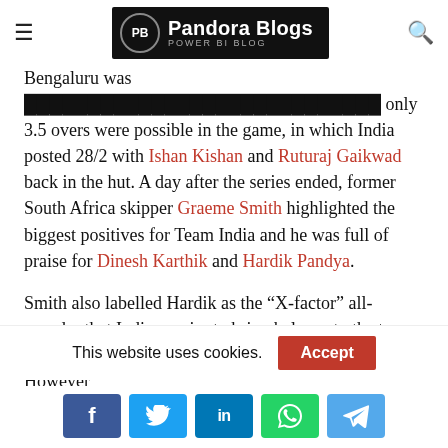Pandora Blogs - POWER BI BLOG
Bengaluru was [covered/cut off] only 3.5 overs were possible in the game, in which India posted 28/2 with Ishan Kishan and Ruturaj Gaikwad back in the hut. A day after the series ended, former South Africa skipper Graeme Smith highlighted the biggest positives for Team India and he was full of praise for Dinesh Karthik and Hardik Pandya.
Smith also labelled Hardik as the “X-factor” all-rounder that India require to bring balance to the team. In the series, Hardik Pandya registered 117 runs. However
This website uses cookies.
Accept